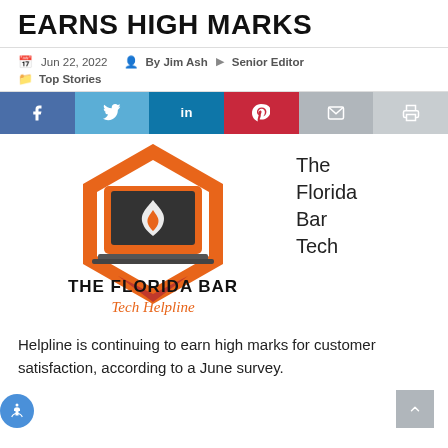EARNS HIGH MARKS
Jun 22, 2022  By Jim Ash  ▶  Senior Editor  Top Stories
[Figure (infographic): Social sharing buttons: Facebook (blue), Twitter (light blue), LinkedIn (dark blue), Pinterest (red), Email (grey), Print (light grey)]
[Figure (logo): The Florida Bar Tech Helpline logo: orange hexagon frame with laptop icon, text 'THE FLORIDA BAR Tech Helpline']
The Florida Bar Tech
Helpline is continuing to earn high marks for customer satisfaction, according to a June survey.